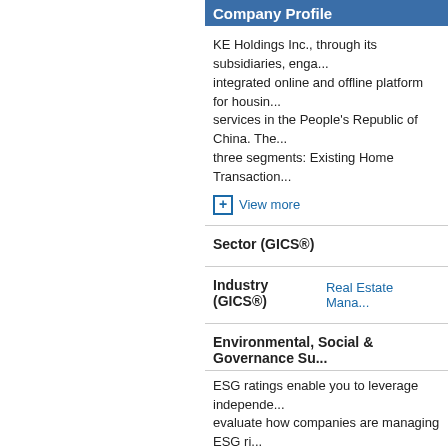Company Profile
KE Holdings Inc., through its subsidiaries, engages in integrated online and offline platform for housing services in the People's Republic of China. The three segments: Existing Home Transaction...
+ View more
Sector (GICS®)
Industry (GICS®)
Real Estate Mana...
Environmental, Social & Governance Su...
ESG ratings enable you to leverage independent evaluate how companies are managing ESG r... ESG opportunities. Learn more
To access the latest ESG Research, Vis... Dashboard
Full Time Employees: 110,082